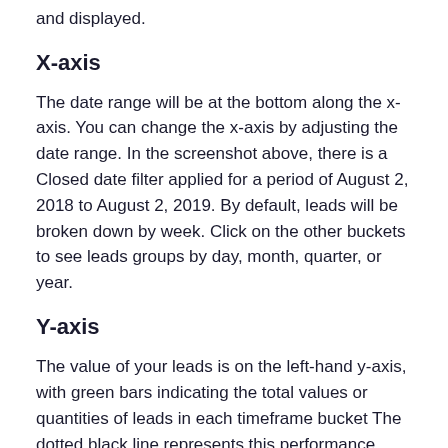and displayed.
X-axis
The date range will be at the bottom along the x-axis. You can change the x-axis by adjusting the date range. In the screenshot above, there is a Closed date filter applied for a period of August 2, 2018 to August 2, 2019. By default, leads will be broken down by week. Click on the other buckets to see leads groups by day, month, quarter, or year.
Y-axis
The value of your leads is on the left-hand y-axis, with green bars indicating the total values or quantities of leads in each timeframe bucket The dotted black line represents this performance against your Sales